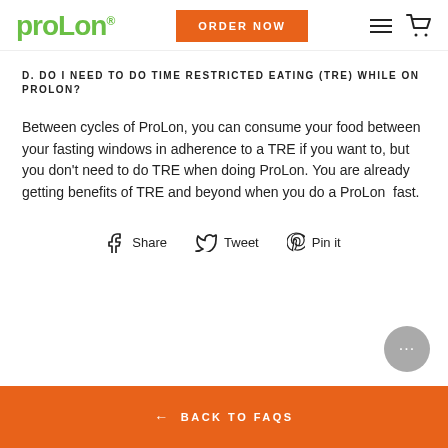prolon® | ORDER NOW
D. DO I NEED TO DO TIME RESTRICTED EATING (TRE) WHILE ON PROLON?
Between cycles of ProLon, you can consume your food between your fasting windows in adherence to a TRE if you want to, but you don't need to do TRE when doing ProLon. You are already getting benefits of TRE and beyond when you do a ProLon  fast.
Share   Tweet   Pin it
← BACK TO FAQS